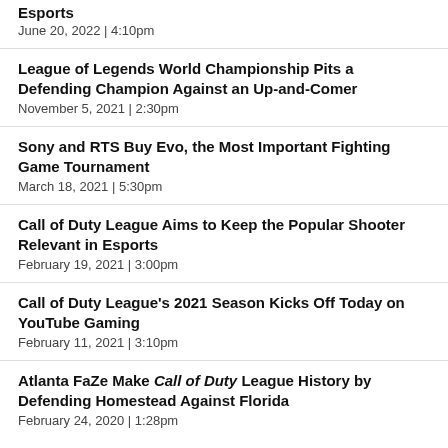Esports
June 20, 2022  |  4:10pm
League of Legends World Championship Pits a Defending Champion Against an Up-and-Comer
November 5, 2021  |  2:30pm
Sony and RTS Buy Evo, the Most Important Fighting Game Tournament
March 18, 2021  |  5:30pm
Call of Duty League Aims to Keep the Popular Shooter Relevant in Esports
February 19, 2021  |  3:00pm
Call of Duty League's 2021 Season Kicks Off Today on YouTube Gaming
February 11, 2021  |  3:10pm
Atlanta FaZe Make Call of Duty League History by Defending Homestead Against Florida
February 24, 2020  |  1:28pm